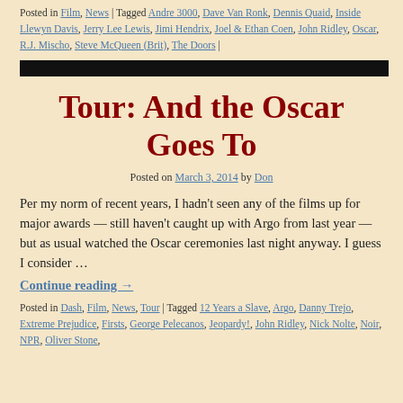Posted in Film, News | Tagged Andre 3000, Dave Van Ronk, Dennis Quaid, Inside Llewyn Davis, Jerry Lee Lewis, Jimi Hendrix, Joel & Ethan Coen, John Ridley, Oscar, R.J. Mischo, Steve McQueen (Brit), The Doors |
[Figure (other): Black horizontal bar separator]
Tour: And the Oscar Goes To
Posted on March 3, 2014 by Don
Per my norm of recent years, I hadn't seen any of the films up for major awards — still haven't caught up with Argo from last year — but as usual watched the Oscar ceremonies last night anyway. I guess I consider …
Continue reading →
Posted in Dash, Film, News, Tour | Tagged 12 Years a Slave, Argo, Danny Trejo, Extreme Prejudice, Firsts, George Pelecanos, Jeopardy!, John Ridley, Nick Nolte, Noir, NPR, Oliver Stone,